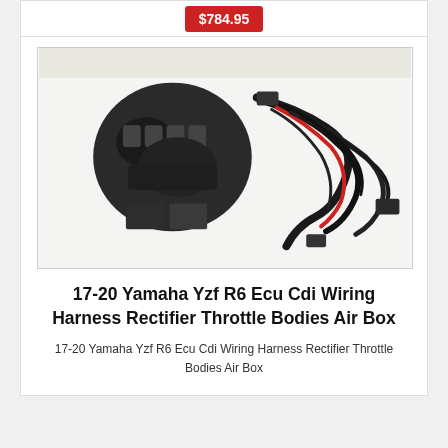$784.95
[Figure (photo): Yamaha YZF R6 motorcycle parts laid out on white surface: throttle bodies/air box assembly (top left), wiring harness with red and black wires (right), ECU/CDI units (bottom center left)]
17-20 Yamaha Yzf R6 Ecu Cdi Wiring Harness Rectifier Throttle Bodies Air Box
17-20 Yamaha Yzf R6 Ecu Cdi Wiring Harness Rectifier Throttle Bodies Air Box